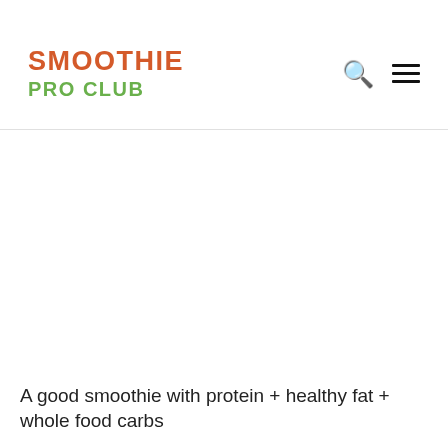SMOOTHIE PRO CLUB
A good smoothie with protein + healthy fat + whole food carbs